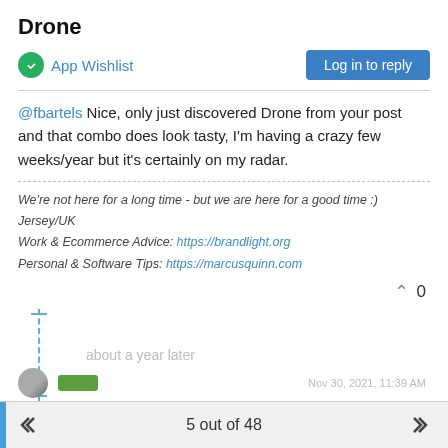Drone
App Wishlist
Log in to reply
@fbartels Nice, only just discovered Drone from your post and that combo does look tasty, I'm having a crazy few weeks/year but it's certainly on my radar.
We're not here for a long time - but we are here for a good time :) Jersey/UK Work & Ecommerce Advice: https://brandlight.org Personal & Software Tips: https://marcusquinn.com
0
about a year later
5 out of 48